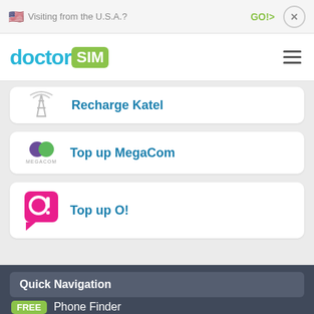🇺🇸 Visiting from the U.S.A.?  GO!>  x
[Figure (logo): doctorSIM logo with blue 'doctor' text and green 'SIM' badge, plus hamburger menu icon]
Recharge Katel
Top up MegaCom
Top up O!
Quick Navigation
FREE  Phone Finder